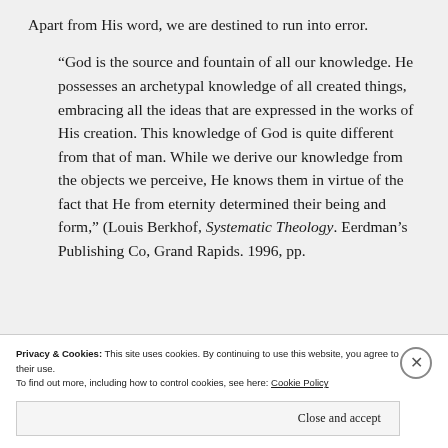Apart from His word, we are destined to run into error.
“God is the source and fountain of all our knowledge. He possesses an archetypal knowledge of all created things, embracing all the ideas that are expressed in the works of His creation. This knowledge of God is quite different from that of man. While we derive our knowledge from the objects we perceive, He knows them in virtue of the fact that He from eternity determined their being and form,” (Louis Berkhof, Systematic Theology. Eerdman’s Publishing Co, Grand Rapids. 1996, pp.
Privacy & Cookies: This site uses cookies. By continuing to use this website, you agree to their use.
To find out more, including how to control cookies, see here: Cookie Policy
Close and accept